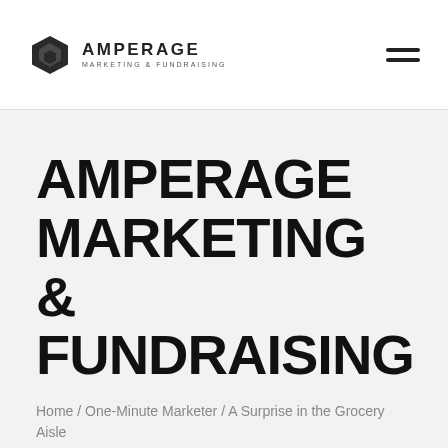AMPERAGE MARKETING & FUNDRAISING
AMPERAGE MARKETING & FUNDRAISING
Home / One-Minute Marketer / A Surprise in the Grocery Aisle
Subscribe